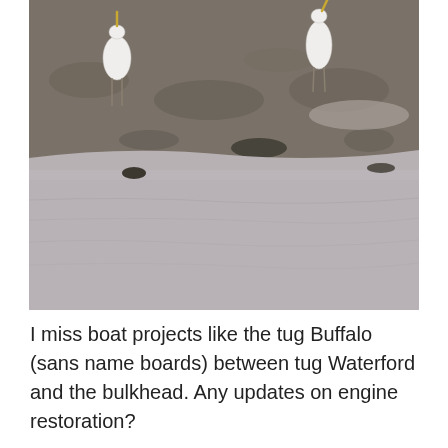[Figure (photo): Black and white photograph of egrets (white birds) standing on a muddy shoreline or tidal flat, with water in the foreground. The foreground shows calm gray water and the background shows dark muddy terrain with the birds visible.]
I miss boat projects like the tug Buffalo (sans name boards) between tug Waterford and the bulkhead. Any updates on engine restoration?